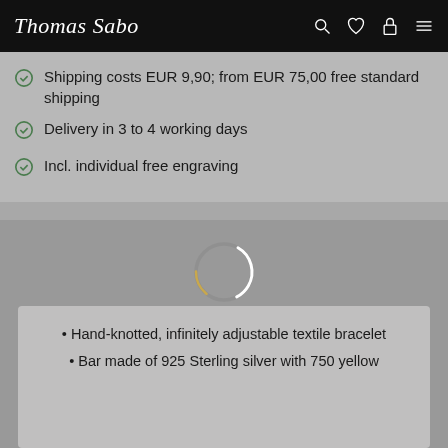Thomas Sabo
Shipping costs EUR 9,90; from EUR 75,00 free standard shipping
Delivery in 3 to 4 working days
Incl. individual free engraving
[Figure (other): Loading spinner circle (gold/white ring)]
Bracelet Little Secret classic gold
Description
• Hand-knotted, infinitely adjustable textile bracelet
• Bar made of 925 Sterling silver with 750 yellow